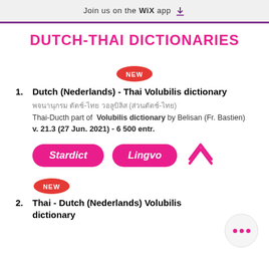Join us on the WiX app ↓
DUTCH-THAI DICTIONARIES
[Figure (other): Red oval NEW badge]
1. Dutch (Nederlands) - Thai Volubilis dictionary
Thai-Ducth part of Volubilis dictionary by Belisan (Fr. Bastien)
v. 21.3 (27 Jun. 2021) - 6 500 entr.
[Figure (other): Stardict and Lingvo pink rounded buttons, up-arrow icon]
[Figure (other): Red oval NEW badge]
2. Thai - Dutch (Nederlands) Volubilis dictionary